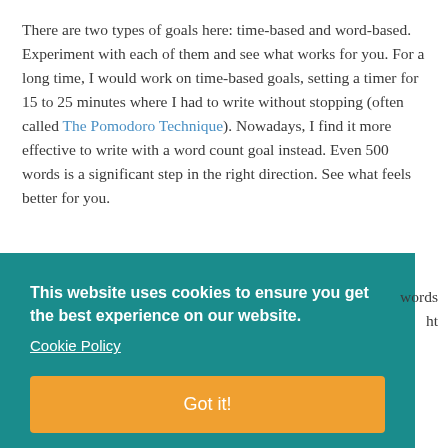There are two types of goals here: time-based and word-based. Experiment with each of them and see what works for you. For a long time, I would work on time-based goals, setting a timer for 15 to 25 minutes where I had to write without stopping (often called The Pomodoro Technique). Nowadays, I find it more effective to write with a word count goal instead. Even 500 words is a significant step in the right direction. See what feels better for you.
This website uses cookies to ensure you get the best experience on our website. Cookie Policy Got it!